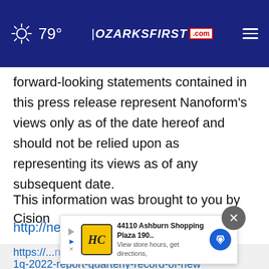79° | OZARKSFIRST.com
forward-looking statements contained in this press release represent Nanoform's views only as of the date hereof and should not be relied upon as representing its views as of any subsequent date.
This information was brought to you by Cision
http://news.cision.com
https://...nanoform-1q-2022-report-quarterly-record-of-new
[Figure (screenshot): Ad banner overlay showing HC logo, '44110 Ashburn Shopping Plaza 190...' text and 'View store hours, get directions,' with close and map direction buttons]